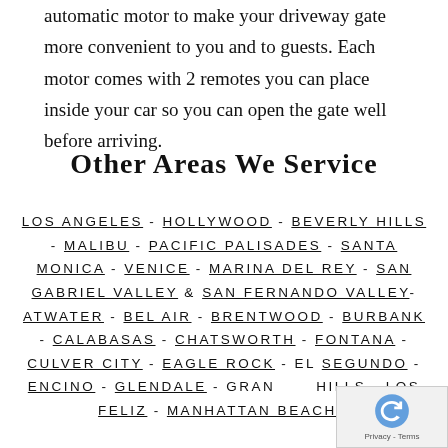automatic motor to make your driveway gate more convenient to you and to guests. Each motor comes with 2 remotes you can place inside your car so you can open the gate well before arriving.
Other Areas We Service
LOS ANGELES - HOLLYWOOD - BEVERLY HILLS - MALIBU - PACIFIC PALISADES - SANTA MONICA - VENICE - MARINA DEL REY - SAN GABRIEL VALLEY & SAN FERNANDO VALLEY- ATWATER - BEL AIR - BRENTWOOD - BURBANK - CALABASAS - CHATSWORTH - FONTANA - CULVER CITY - EAGLE ROCK - EL SEGUNDO - ENCINO - GLENDALE - GRANADA HILLS - LOS FELIZ - MANHATTAN BEACH -